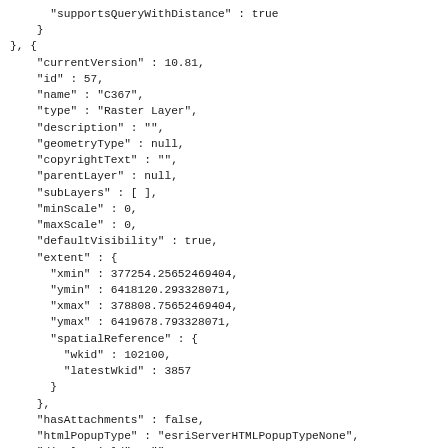"supportsQueryWithDistance" : true
    }
}, {
    "currentVersion" : 10.81,
    "id" : 57,
    "name" : "C367",
    "type" : "Raster Layer",
    "description" : "",
    "geometryType" : null,
    "copyrightText" : "",
    "parentLayer" : null,
    "subLayers" : [ ],
    "minScale" : 0,
    "maxScale" : 0,
    "defaultVisibility" : true,
    "extent" : {
      "xmin" : 377254.25652469404,
      "ymin" : 6418120.293328071,
      "xmax" : 378808.75652469404,
      "ymax" : 6419678.793328071,
      "spatialReference" : {
        "wkid" : 102100,
        "latestWkid" : 3857
      }
    },
    "hasAttachments" : false,
    "htmlPopupType" : "esriServerHTMLPopupTypeNone",
    "displayField" : "",
    "typeIdField" : null,
    "fields" : null,
    "relationships" : [ ],
    "canModifyLayer" : false,
    "canScaleSymbols" : false,
    "hasLabels" : false,
    "capabilities" : "Map",
    "supportsStatistics" : false,
    "supportsAdvancedQueries" : false,